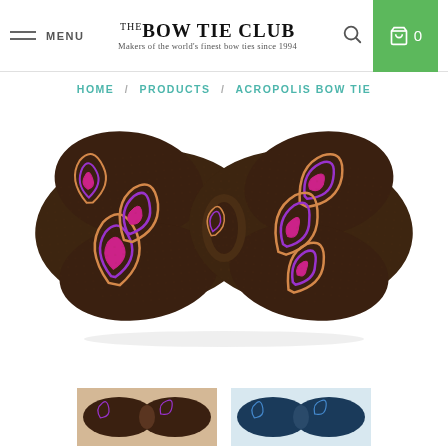THE BOW TIE CLUB — Makers of the world's finest bow ties since 1994 | MENU | Search | Cart 0
HOME / PRODUCTS / ACROPOLIS BOW TIE
[Figure (photo): A brown paisley bow tie with purple, magenta and gold paisley patterns on dark brown silk fabric, shown tied in classic butterfly shape against a white background.]
[Figure (photo): Thumbnail of brown paisley bow tie variant]
[Figure (photo): Thumbnail of blue/teal paisley bow tie variant]